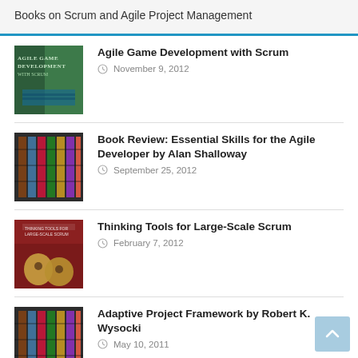Books on Scrum and Agile Project Management
Agile Game Development with Scrum — November 9, 2012
Book Review: Essential Skills for the Agile Developer by Alan Shalloway — September 25, 2012
Thinking Tools for Large-Scale Scrum — February 7, 2012
Adaptive Project Framework by Robert K. Wysocki — May 10, 2011